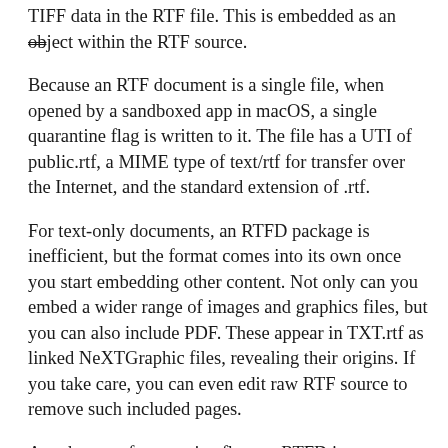TIFF data in the RTF file. This is embedded as an object within the RTF source.
Because an RTF document is a single file, when opened by a sandboxed app in macOS, a single quarantine flag is written to it. The file has a UTI of public.rtf, a MIME type of text/rtf for transfer over the Internet, and the standard extension of .rtf.
For text-only documents, an RTFD package is inefficient, but the format comes into its own once you start embedding other content. Not only can you embed a wider range of images and graphics files, but you can also include PDF. These appear in TXT.rtf as linked NeXTGraphic files, revealing their origins. If you take care, you can even edit raw RTF source to remove such included pages.
Attachment of quarantine flags to RTFD is more messy: instead of putting a flag on the .rtfd package, each individual file within the folder gets its own...